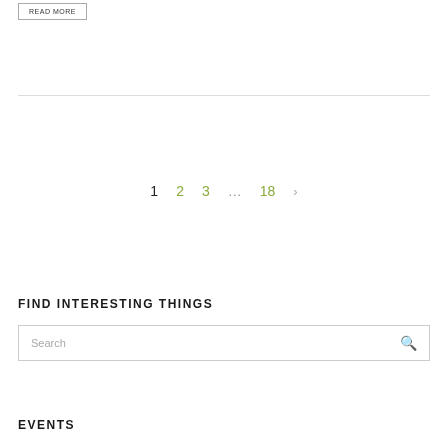READ MORE
1  2  3  …  18  >
FIND INTERESTING THINGS
Search
EVENTS